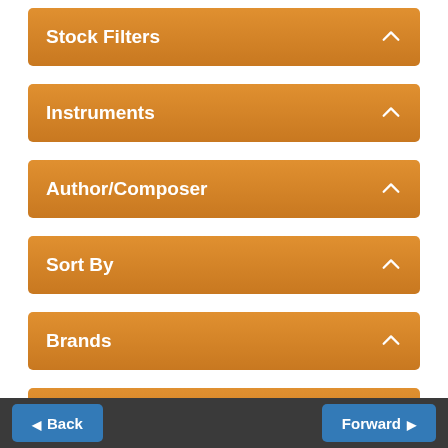Stock Filters
Instruments
Author/Composer
Sort By
Brands
Price All
Products 1 to 32 of 181
1 2 3 4 5 >>
Back   Forward